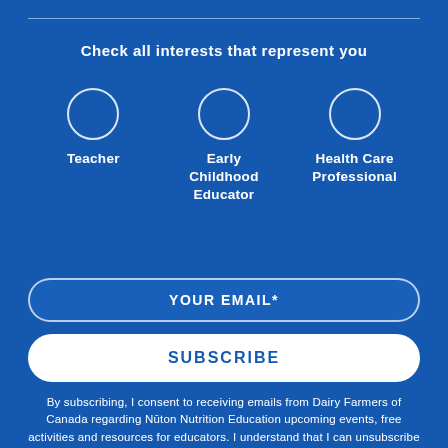Check all interests that represent you
Teacher
Early Childhood Educator
Health Care Professional
YOUR EMAIL*
SUBSCRIBE
By subscribing, I consent to receiving emails from Dairy Farmers of Canada regarding Nūton Nutrition Education upcoming events, free activities and resources for educators. I understand that I can unsubscribe at any time.